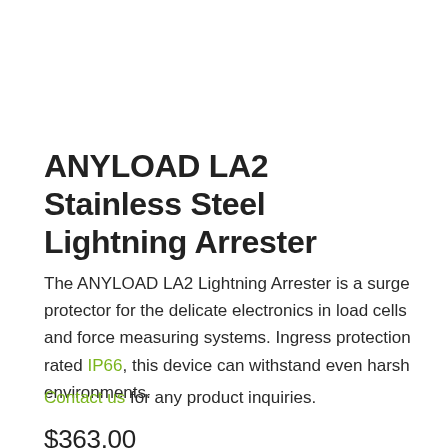ANYLOAD LA2 Stainless Steel Lightning Arrester
The ANYLOAD LA2 Lightning Arrester is a surge protector for the delicate electronics in load cells and force measuring systems. Ingress protection rated IP66, this device can withstand even harsh environments.
Contact us for any product inquiries.
$363.00